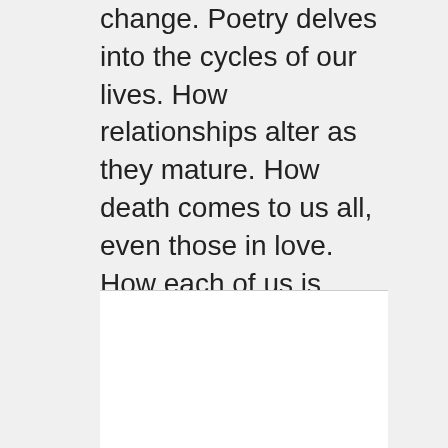change. Poetry delves into the cycles of our lives. How relationships alter as they mature. How death comes to us all, even those in love. How each of us is unique, and that is what makes us wonderful. Fiction lets us walk, for a moment, in another person's shoes. Parents age. Mothers struggle to protect their children. Fathers demonstrate patience and understanding. Non-fiction pulls back the curtains and reminds us we are part of a global community. A woman comes to term with the frailty of her body. A daughter struggles with a distant father. A teacher...